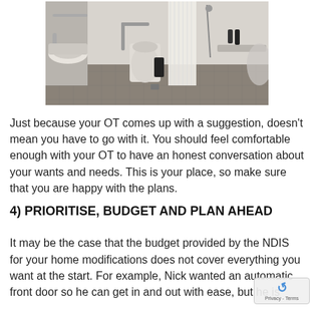[Figure (photo): Black and white photograph of an accessible bathroom with grab rails, toilet, roll-in shower with curtain, sink, and bench seat on dark tile floor.]
Just because your OT comes up with a suggestion, doesn't mean you have to go with it. You should feel comfortable enough with your OT to have an honest conversation about your wants and needs. This is your place, so make sure that you are happy with the plans.
4) PRIORITISE, BUDGET AND PLAN AHEAD
It may be the case that the budget provided by the NDIS for your home modifications does not cover everything you want at the start. For example, Nick wanted an automatic front door so he can get in and out with ease, but he is